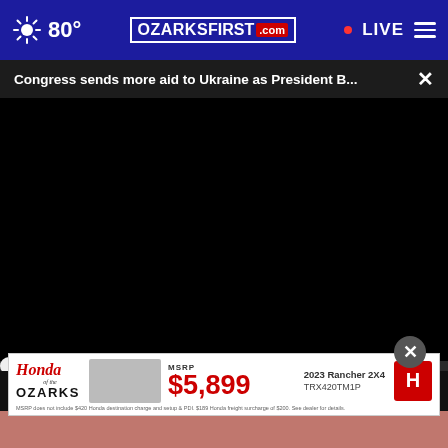80° OZARKSFIRST.com • LIVE
Congress sends more aid to Ukraine as President B...
[Figure (screenshot): Black video player area showing a paused video]
00:00
[Figure (other): Honda of the Ozarks advertisement banner showing ATV with MSRP $5,899 for 2023 Rancher 2X4 TRX420TM1P]